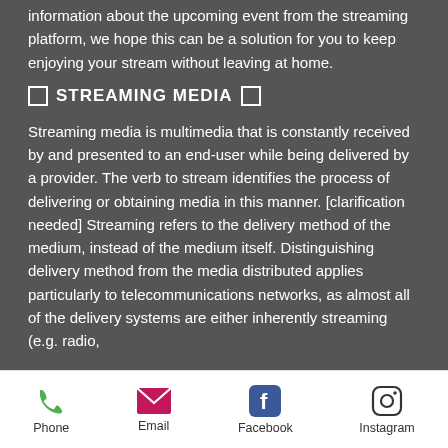information about the upcoming event from the streaming platform, we hope this can be a solution for you to keep enjoying your stream without leaving at home.
☐ STREAMING MEDIA ☐
Streaming media is multimedia that is constantly received by and presented to an end-user while being delivered by a provider. The verb to stream identifies the process of delivering or obtaining media in this manner. [clarification needed] Streaming refers to the delivery method of the medium, instead of the medium itself. Distinguishing delivery method from the media distributed applies particularly to telecommunications networks, as almost all of the delivery systems are either inherently streaming (e.g. radio,
Phone  Email  Facebook  Instagram